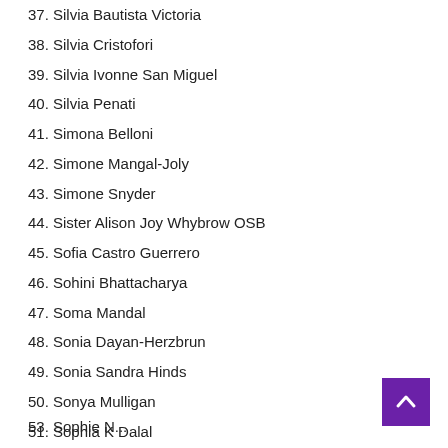37. Silvia Bautista Victoria
38. Silvia Cristofori
39. Silvia Ivonne San Miguel
40. Silvia Penati
41. Simona Belloni
42. Simone Mangal-Joly
43. Simone Snyder
44. Sister Alison Joy Whybrow OSB
45. Sofia Castro Guerrero
46. Sohini Bhattacharya
47. Soma Mandal
48. Sonia Dayan-Herzbrun
49. Sonia Sandra Hinds
50. Sonya Mulligan
51. Sophia K Dalal
52. Sophie Holzberger
53. Sophie N...